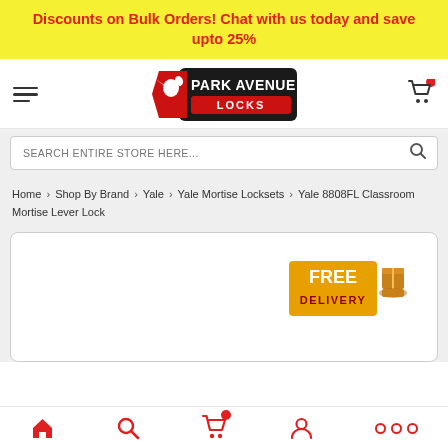Discounts on Bulk Orders! Chat with us today and save upto 25%
[Figure (logo): Park Avenue Locks logo with red and black badge design]
SEARCH ENTIRE STORE HERE...
Home > Shop By Brand > Yale > Yale Mortise Locksets > Yale 8808FL Classroom Mortise Lever Lock
[Figure (infographic): Free Delivery badge with package icon on product listing panel]
Home | Search | Cart | Account | More